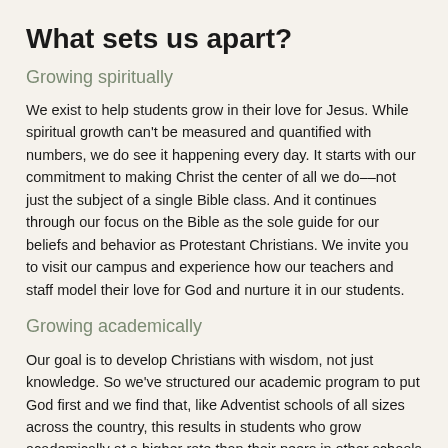What sets us apart?
Growing spiritually
We exist to help students grow in their love for Jesus. While spiritual growth can't be measured and quantified with numbers, we do see it happening every day. It starts with our commitment to making Christ the center of all we do––not just the subject of a single Bible class. And it continues through our focus on the Bible as the sole guide for our beliefs and behavior as Protestant Christians. We invite you to visit our campus and experience how our teachers and staff model their love for God and nurture it in our students.
Growing academically
Our goal is to develop Christians with wisdom, not just knowledge. So we've structured our academic program to put God first and we find that, like Adventist schools of all sizes across the country, this results in students who grow academically at a higher rate than their peers in other schools (see the next paragraph). It really is true that when we "seek first the kingdom of God and His righteousness, all